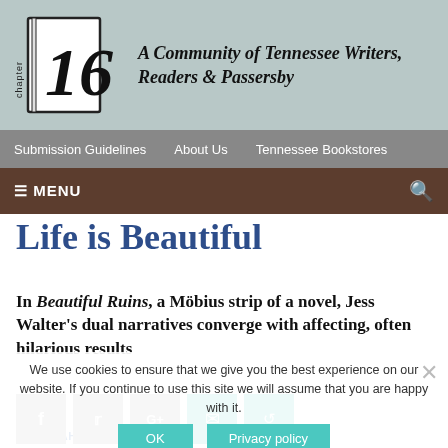[Figure (logo): Chapter 16 logo with stylized '16' and 'chapter' text in a book-shaped frame]
A Community of Tennessee Writers, Readers & Passersby
Submission Guidelines   About Us   Tennessee Bookstores
☰ MENU
Life is Beautiful
In Beautiful Ruins, a Möbius strip of a novel, Jess Walter's dual narratives converge with affecting, often hilarious results
We use cookies to ensure that we give you the best experience on our website. If you continue to use this site we will assume that you are happy with it.
OK   Privacy policy
BY SARAH NORRIS   SEPTEMBER 4, 2012